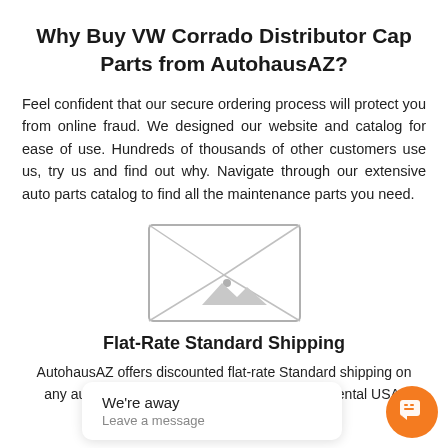Why Buy VW Corrado Distributor Cap Parts from AutohausAZ?
Feel confident that our secure ordering process will protect you from online fraud. We designed our website and catalog for ease of use. Hundreds of thousands of other customers use us, try us and find out why. Navigate through our extensive auto parts catalog to find all the maintenance parts you need.
[Figure (illustration): Image placeholder showing an envelope/image icon with grey border and diagonal lines]
Flat-Rate Standard Shipping
AutohausAZ offers discounted flat-rate Standard shipping on any auto parts orders shipped within the Continental USA.
We're away
Leave a message